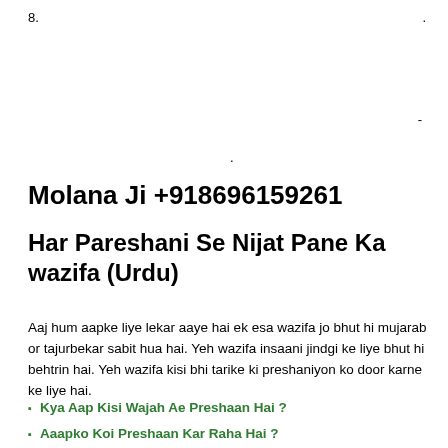8.
.
-
.
Molana Ji +918696159261
Har Pareshani Se Nijat Pane Ka wazifa (Urdu)
Aaj hum aapke liye lekar aaye hai ek esa wazifa jo bhut hi mujarab or tajurbekar sabit hua hai. Yeh wazifa insaani jindgi ke liye bhut hi behtrin hai. Yeh wazifa kisi bhi tarike ki preshaniyon ko door karne ke liye hai.
Kya Aap Kisi Wajah Ae Preshaan Hai ?
Aaapko Koi Preshaan Kar Raha Hai ?